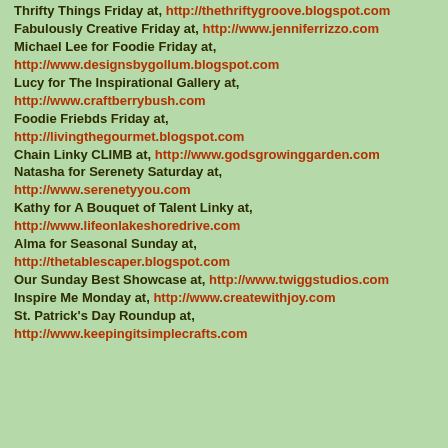Thrifty Things Friday at, http://thethriftygroove.blogspot.com
Fabulously Creative Friday at, http://www.jenniferrizzo.com
Michael Lee for Foodie Friday at, http://www.designsbygollum.blogspot.com
Lucy for The Inspirational Gallery at, http://www.craftberrybush.com
Foodie Friebds Friday at, http://livingthegourmet.blogspot.com
Chain Linky CLIMB at, http://www.godsgrowinggarden.com
Natasha for Serenety Saturday at, http://www.serenetyyou.com
Kathy for A Bouquet of Talent Linky at, http://www.lifeonlakeshoredrive.com
Alma for Seasonal Sunday at, http://thetablescaper.blogspot.com
Our Sunday Best Showcase at, http://www.twiggstudios.com
Inspire Me Monday at, http://www.createwithjoy.com
St. Patrick's Day Roundup at, http://www.keepingitsimplecrafts.com